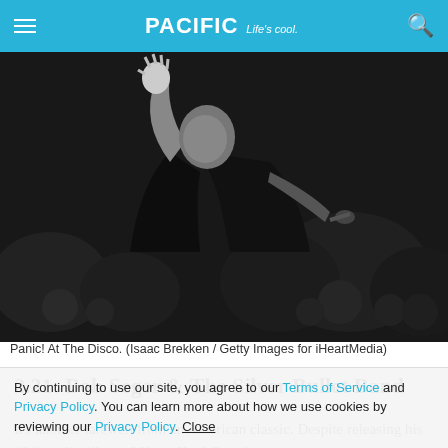PACIFIC Life's cool.
[Figure (photo): Black and white concert photo of a performer (Panic! At The Disco) on stage singing into a microphone with one hand raised, crowd visible in the background.]
Panic! At The Disco. (Isaac Brekken / Getty Images for iHeartMedia)
2.21: Bob Seger & The Silver Bullet Band
By continuing to use our site, you agree to our Terms of Service and Privacy Policy. You can learn more about how we use cookies by reviewing our Privacy Policy. Close
It's another farewell from an American classic. Despite releasing his 18th studio album, I Knew You When, less